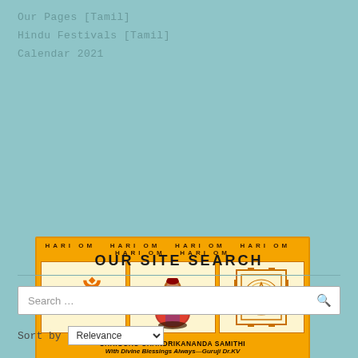Our Pages [Tamil]
Hindu Festivals [Tamil]
Calendar 2021
[Figure (illustration): Banner for Shriguru Chandrikananda Samithi with orange background, 'HARI OM' repeated six times at top, three panels showing Om symbol, deity figure with garlands, and Sri Yantra/chakra diagram. Footer reads 'SHRIGURU CHANDRIKANANDA SAMITHI' and 'With Divine Blessings Always—Guruji Dr.KV']
OUR SITE SEARCH
Search …
Sort by   Relevance